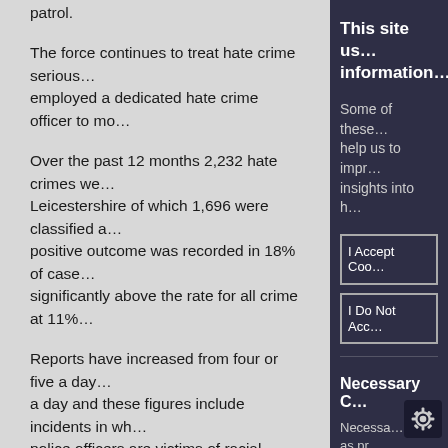patrol.
The force continues to treat hate crime seriously and has employed a dedicated hate crime officer to mo…
Over the past 12 months 2,232 hate crimes were recorded in Leicestershire of which 1,696 were classified as… positive outcome was recorded in 18% of cases… significantly above the rate for all crime at 11%…
Reports have increased from four or five a day… a day and these figures include incidents in wh… police officers are victims of racial abuse from…
Ends
Media Enquiries:    Sallie Blair - 07702 541401…
This site us… information…
Some of these… help us to impr… insights into h…
I Accept Coo…
I Do Not Acc…
Necessary C…
Necessа… as pr…